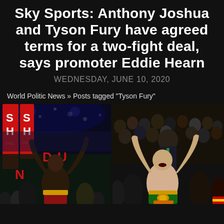Sky Sports: Anthony Joshua and Tyson Fury have agreed terms for a two-fight deal, says promoter Eddie Hearn
WEDNESDAY, JUNE 10, 2020
World Politic News » Posts tagged "Tyson Fury"
[Figure (photo): Two side-by-side boxing photos: left shows Anthony Joshua celebrating with fists raised in a boxing arena with red corner posts and crowd; right shows Tyson Fury celebrating with fists raised wearing a championship belt surrounded by his team and crowd.]